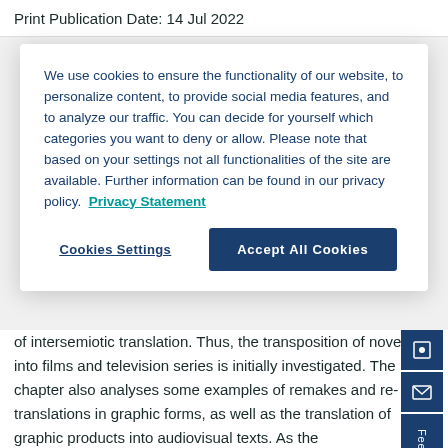Print Publication Date:  14 Jul 2022
We use cookies to ensure the functionality of our website, to personalize content, to provide social media features, and to analyze our traffic. You can decide for yourself which categories you want to deny or allow. Please note that based on your settings not all functionalities of the site are available. Further information can be found in our privacy policy.  Privacy Statement
of intersemiotic translation. Thus, the transposition of novels into films and television series is initially investigated. The chapter also analyses some examples of remakes and re-translations in graphic forms, as well as the translation of graphic products into audiovisual texts. As the
See More